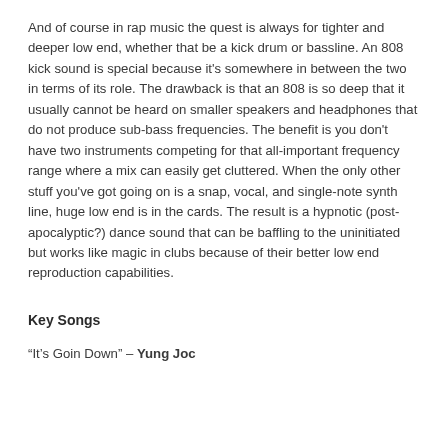And of course in rap music the quest is always for tighter and deeper low end, whether that be a kick drum or bassline. An 808 kick sound is special because it's somewhere in between the two in terms of its role. The drawback is that an 808 is so deep that it usually cannot be heard on smaller speakers and headphones that do not produce sub-bass frequencies. The benefit is you don't have two instruments competing for that all-important frequency range where a mix can easily get cluttered. When the only other stuff you've got going on is a snap, vocal, and single-note synth line, huge low end is in the cards. The result is a hypnotic (post-apocalyptic?) dance sound that can be baffling to the uninitiated but works like magic in clubs because of their better low end reproduction capabilities.
Key Songs
“It’s Goin Down” – Yung Joc